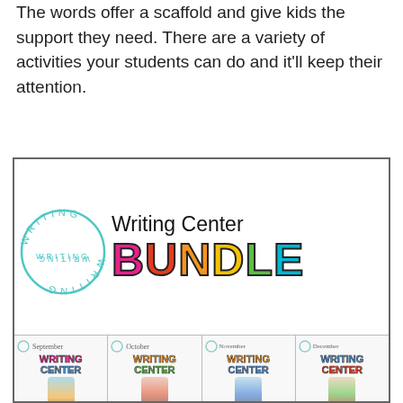The words offer a scaffold and give kids the support they need. There are a variety of activities your students can do and it'll keep their attention.
[Figure (illustration): Writing Center Bundle promotional image showing colorful logo with cursive 'Writing Center' text and bold colorful 'BUNDLE' lettering, alongside thumbnail images of monthly writing center products (September through May) featuring illustrated children and writing center text.]